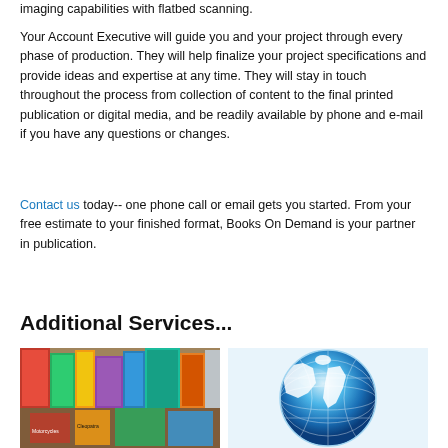imaging capabilities with flatbed scanning.
Your Account Executive will guide you and your project through every phase of production. They will help finalize your project specifications and provide ideas and expertise at any time. They will stay in touch throughout the process from collection of content to the final printed publication or digital media, and be readily available by phone and e-mail if you have any questions or changes.
Contact us today-- one phone call or email gets you started. From your free estimate to your finished format, Books On Demand is your partner in publication.
Additional Services...
[Figure (photo): Collage of various book covers including topics on motorcycles and other subjects]
[Figure (photo): Large blue globe/Earth illustration against a light background]